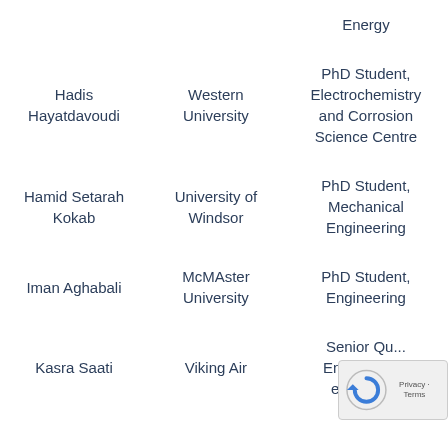| Name | Institution | Role |
| --- | --- | --- |
|  |  | Energy |
| Hadis Hayatdavoudi | Western University | PhD Student, Electrochemistry and Corrosion Science Centre |
| Hamid Setarah Kokab | University of Windsor | PhD Student, Mechanical Engineering |
| Iman Aghabali | McMAster University | PhD Student, Engineering |
| Kasra Saati | Viking Air | Senior Qu... Engineer (f... employee) |